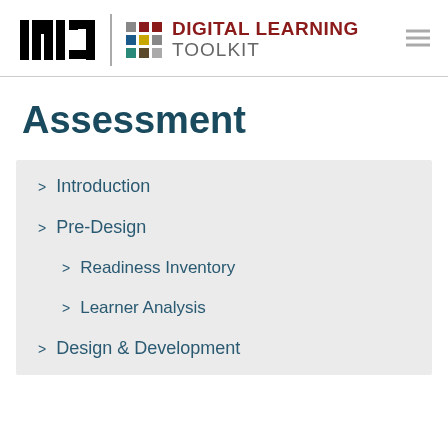[Figure (logo): MIT Digital Learning Toolkit logo with MIT text mark, colored dot grid, and 'DIGITAL LEARNING TOOLKIT' text]
Assessment
> Introduction
> Pre-Design
> Readiness Inventory
> Learner Analysis
> Design & Development